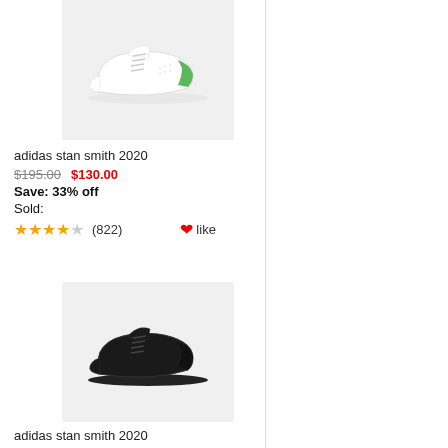[Figure (photo): White Adidas Stan Smith 2020 sneaker with green heel tab, side view on light gray background]
adidas stan smith 2020
$195.00  $130.00
Save: 33% off
Sold:
★★★★☆ (822)  ❤like
[Figure (photo): Black Adidas Stan Smith 2020 sneaker, side view on light gray background]
adidas stan smith 2020
$188.00  $125.00